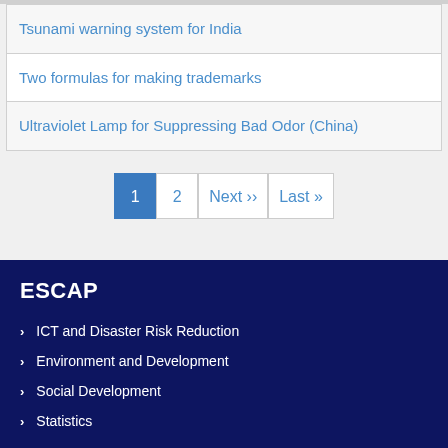Tsunami warning system for India
Two formulas for making trademarks
Ultraviolet Lamp for Suppressing Bad Odor (China)
1  2  Next »  Last »
ESCAP
ICT and Disaster Risk Reduction
Environment and Development
Social Development
Statistics